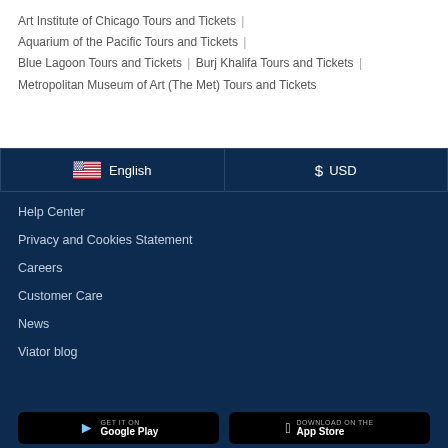Art Institute of Chicago Tours and Tickets |
Aquarium of the Pacific Tours and Tickets |
Blue Lagoon Tours and Tickets | Burj Khalifa Tours and Tickets |
Metropolitan Museum of Art (The Met) Tours and Tickets
[Figure (infographic): Language selector showing US flag and English, and currency selector showing $ USD]
Help Center
Privacy and Cookies Statement
Careers
Customer Care
News
Viator blog
[Figure (screenshot): GET IT ON Google Play app button]
[Figure (screenshot): Download on the App Store button]